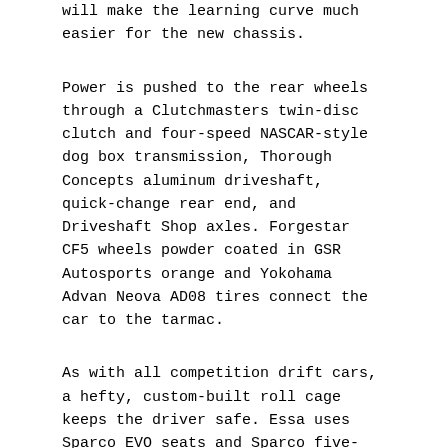will make the learning curve much easier for the new chassis.
Power is pushed to the rear wheels through a Clutchmasters twin-disc clutch and four-speed NASCAR-style dog box transmission, Thorough Concepts aluminum driveshaft, quick-change rear end, and Driveshaft Shop axles. Forgestar CF5 wheels powder coated in GSR Autosports orange and Yokohama Advan Neova AD08 tires connect the car to the tarmac.
As with all competition drift cars, a hefty, custom-built roll cage keeps the driver safe. Essa uses Sparco EVO seats and Sparco five-point harnesses, with a suede OMP steering wheel for responsive steering input. Hydraulic Wilwood pedals control the Wilwood brakes at each corner, with a custom E-brake handle for the rear hydraulic calipers for fine adjustments mid-drift. All engine controls are displayed on the same Pectel Pi